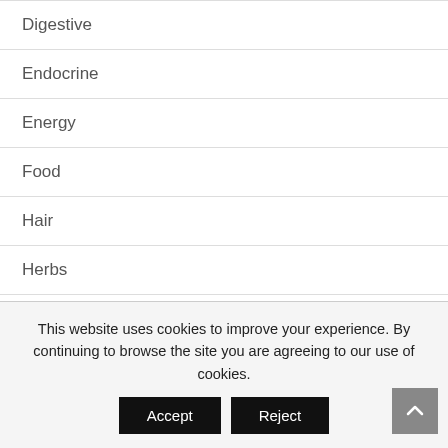Digestive
Endocrine
Energy
Food
Hair
Herbs
Immune
This website uses cookies to improve your experience. By continuing to browse the site you are agreeing to our use of cookies.